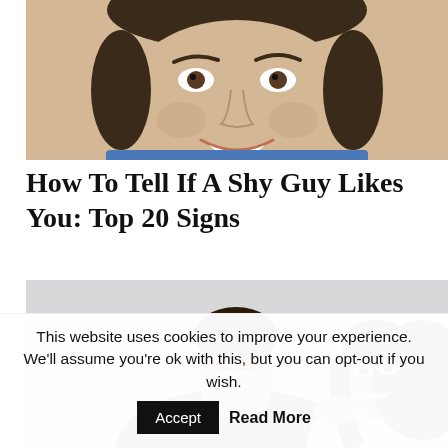[Figure (photo): Close-up photo of a smiling young man with short dark hair wearing a blue shirt, cropped at the top of the page]
How To Tell If A Shy Guy Likes You: Top 20 Signs
[Figure (photo): Photo of a young man in a dark shirt smiling down at a young woman with brown hair who is smiling up at him, light gray background]
This website uses cookies to improve your experience. We'll assume you're ok with this, but you can opt-out if you wish.
Accept
Read More